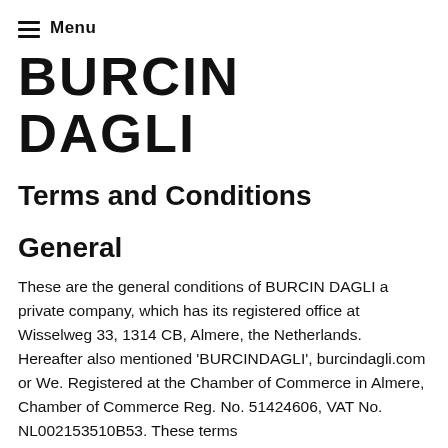Menu
BURCIN DAGLI
Terms and Conditions
General
These are the general conditions of BURCIN DAGLI a private company, which has its registered office at Wisselweg 33, 1314 CB, Almere, the Netherlands. Hereafter also mentioned 'BURCINDAGLI', burcindagli.com or We. Registered at the Chamber of Commerce in Almere, Chamber of Commerce Reg. No. 51424606, VAT No. NL002153510B53. These terms